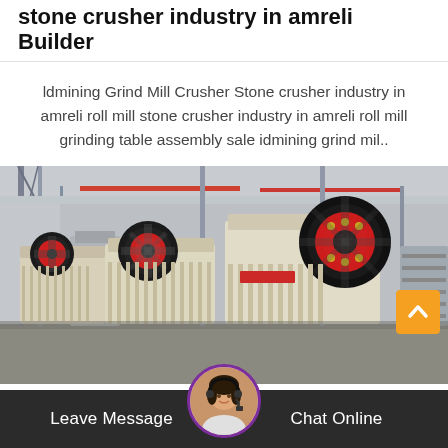stone crusher industry in amreli Builder
ldmining Grind Mill Crusher Stone crusher industry in amreli roll mill stone crusher industry in amreli roll mill grinding table assembly sale idmining grind mil..
[Figure (photo): Industrial stone crusher jaw crushers lined up on factory floor inside a large manufacturing facility with steel structure overhead]
Leave Message  Chat Online